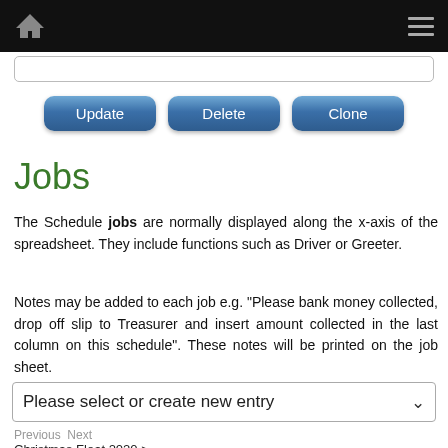Navigation bar with home icon and hamburger menu
[Figure (screenshot): Search bar input field]
[Figure (screenshot): Three blue buttons: Update, Delete, Clone]
Jobs
The Schedule jobs are normally displayed along the x-axis of the spreadsheet. They include functions such as Driver or Greeter.
Notes may be added to each job e.g. "Please bank money collected, drop off slip to Treasurer and insert amount collected in the last column on this schedule". These notes will be printed on the job sheet.
Please select or create new entry
Previous Next
Christmas Float 2020 >